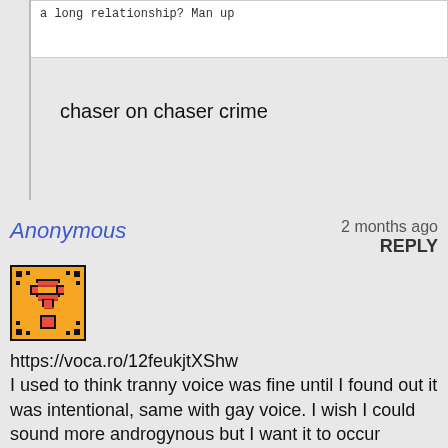a long relationship? Man up
chaser on chaser crime
Anonymous
2 months ago
REPLY
[Figure (illustration): Pixel art Mario question mark block icon, orange/yellow with black border and red question mark]
https://voca.ro/12feukjtXShw
I used to think tranny voice was fine until I found out it was intentional, same with gay voice. I wish I could sound more androgynous but I want it to occur naturally, also changing my voice when friends and family know what I sound like would be pretty jarring.